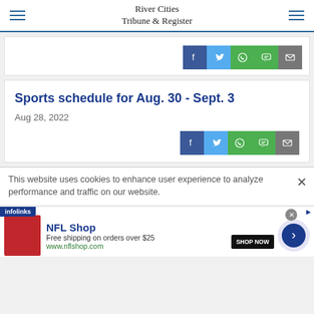River Cities Tribune & Register
Sports schedule for Aug. 30 - Sept. 3
Aug 28, 2022
[Figure (infographic): Social share buttons: Facebook, Twitter, WhatsApp, Chat, Email]
This website uses cookies to enhance user experience to analyze performance and traffic on our website.
[Figure (infographic): NFL Shop advertisement: Free shipping on orders over $25, www.nflshop.com, Shop Now button, infolinks label]